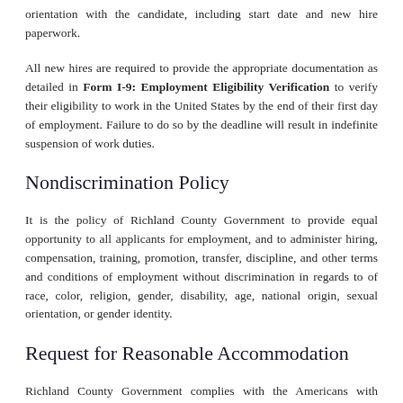orientation with the candidate, including start date and new hire paperwork.
All new hires are required to provide the appropriate documentation as detailed in Form I-9: Employment Eligibility Verification to verify their eligibility to work in the United States by the end of their first day of employment. Failure to do so by the deadline will result in indefinite suspension of work duties.
Nondiscrimination Policy
It is the policy of Richland County Government to provide equal opportunity to all applicants for employment, and to administer hiring, compensation, training, promotion, transfer, discipline, and other terms and conditions of employment without discrimination in regards to of race, color, religion, gender, disability, age, national origin, sexual orientation, or gender identity.
Request for Reasonable Accommodation
Richland County Government complies with the Americans with Disabilities Act Amendments Act of 2008. If you have a disability and need accommodations in connection with the job application